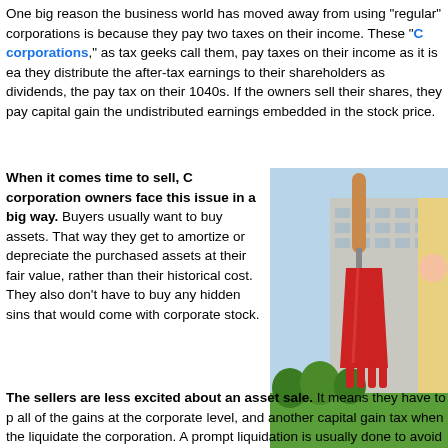One big reason the business world has moved away from using "regular" corporations is because they pay two taxes on their income. These "C corporations," as tax geeks call them, pay taxes on their income as it is earned. When they distribute the after-tax earnings to their shareholders as dividends, the shareholders pay tax on their 1040s. If the owners sell their shares, they pay capital gains taxes on the undistributed earnings embedded in the stock price.
When it comes time to sell, C corporation owners face this issue in a big way. Buyers usually want to buy assets. That way they get to amortize or depreciate the purchased assets at their fair value, rather than their historical cost. They also don't have to buy any hidden sins that would come with corporate stock.
[Figure (photo): A large red garden trowel sculpture in front of a modern office building with a mural of a smiling child on the side.]
The sellers are less excited about an asset sale. It means they have to pay all of the gains at the corporate level, and another capital gain tax when they liquidate the corporation. A prompt liquidation is usually done to avoid "personal holding company tax" problems.